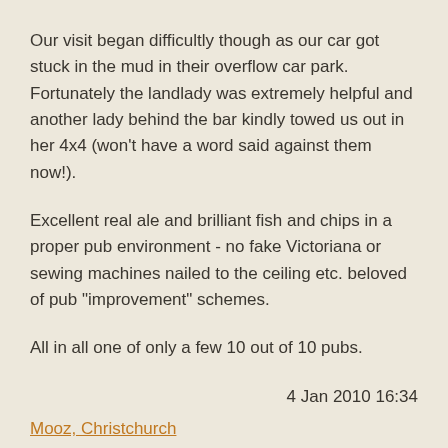Our visit began difficultly though as our car got stuck in the mud in their overflow car park. Fortunately the landlady was extremely helpful and another lady behind the bar kindly towed us out in her 4x4 (won't have a word said against them now!).
Excellent real ale and brilliant fish and chips in a proper pub environment - no fake Victoriana or sewing machines nailed to the ceiling etc. beloved of pub "improvement" schemes.
All in all one of only a few 10 out of 10 pubs.
4 Jan 2010 16:34
Mooz, Christchurch
Now mysteriously closed with "new cafe/bar" opening in a couple of weeks, presumably without sport on the tv's.